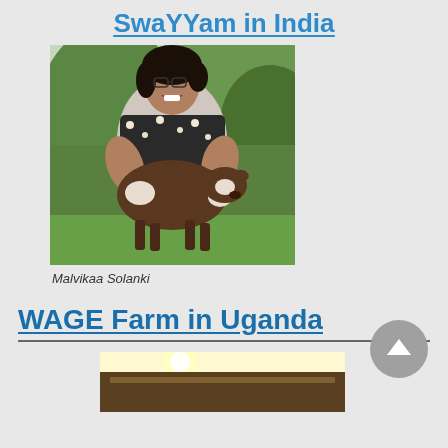SwaYYam in India
[Figure (photo): Photo of Malvikaa Solanki, a woman with glasses smiling and holding a brown and white calf outdoors in a green setting]
Malvikaa Solanki
WAGE Farm in Uganda
[Figure (photo): Partial photo showing a farm building in Uganda, partially visible at the bottom of the page]